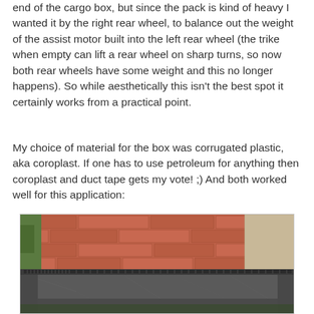end of the cargo box, but since the pack is kind of heavy I wanted it by the right rear wheel, to balance out the weight of the assist motor built into the left rear wheel (the trike when empty can lift a rear wheel on sharp turns, so now both rear wheels have some weight and this no longer happens). So while aesthetically this isn't the best spot it certainly works from a practical point.
My choice of material for the box was corrugated plastic, aka coroplast. If one has to use petroleum for anything then coroplast and duct tape gets my vote! ;) And both worked well for this application:
[Figure (photo): A corrugated plastic (coroplast) box photographed outdoors against a brick wall background. The box is dark grey/black, showing the interior and top edge with what appears to be duct tape edging.]